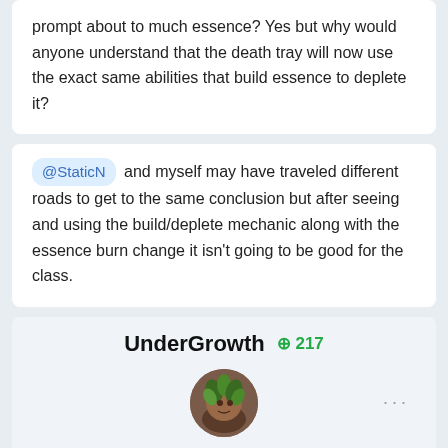prompt about to much essence? Yes but why would anyone understand that the death tray will now use the exact same abilities that build essence to deplete it?
@StaticN and myself may have traveled different roads to get to the same conclusion but after seeing and using the build/deplete mechanic along with the essence burn change it isn't going to be good for the class.
UnderGrowth +217
On 6/24/2022 at 1:08 AM, Dakoth said:
Had a very lengthy debate about the change to the essence burn mechanic on the official Discord so I wanted